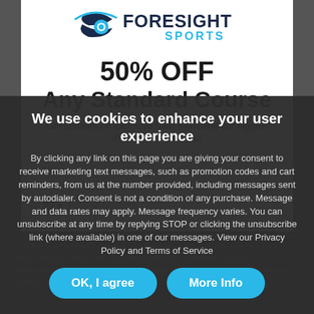[Figure (logo): Foresight Sports logo with eye/swoosh graphic and text 'FORESIGHT SPORTS']
50% OFF
Any Standard Course
Get updates on exclusive flash sales and our biggest discounts of the year!
Name (input field placeholder)
Phone Number (input field placeholder)
We use cookies to enhance your user experience
By clicking any link on this page you are giving your consent to receive marketing text messages, such as promotion codes and cart reminders, from us at the number provided, including messages sent by autodialer. Consent is not a condition of any purchase. Message and data rates may apply. Message frequency varies. You can unsubscribe at any time by replying STOP or clicking the unsubscribe link (where available) in one of our messages. View our Privacy Policy and Terms of Service
OK, I agree
More Info